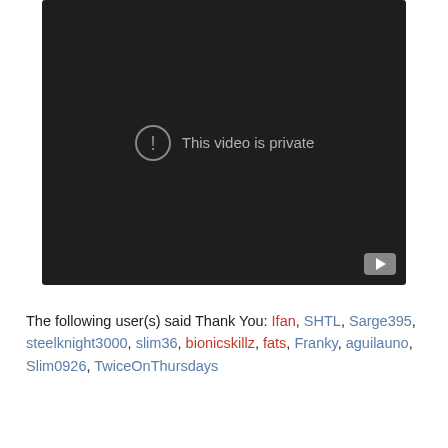[Figure (screenshot): Embedded video player showing 'This video is private' message with exclamation icon on dark background, YouTube play button in bottom-right corner.]
The following user(s) said Thank You: Ifan, SHTL, Sarge395, steelknight3000, slim36, bionicskillz, fats, Franky, aguilauno, Slim0926, TwiceOnThursdays